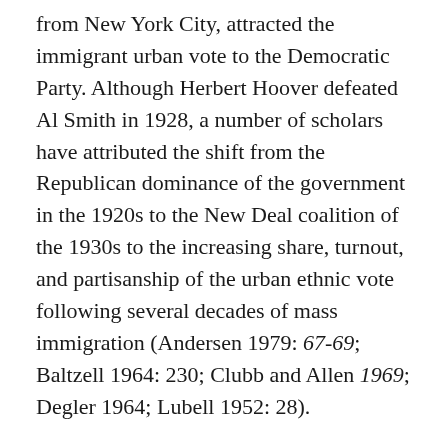from New York City, attracted the immigrant urban vote to the Democratic Party. Although Herbert Hoover defeated Al Smith in 1928, a number of scholars have attributed the shift from the Republican dominance of the government in the 1920s to the New Deal coalition of the 1930s to the increasing share, turnout, and partisanship of the urban ethnic vote following several decades of mass immigration (Andersen 1979: 67-69; Baltzell 1964: 230; Clubb and Allen 1969; Degler 1964; Lubell 1952: 28).
Although the age of mass immigration had ended in the 1920s, the children of immigrants formed 20